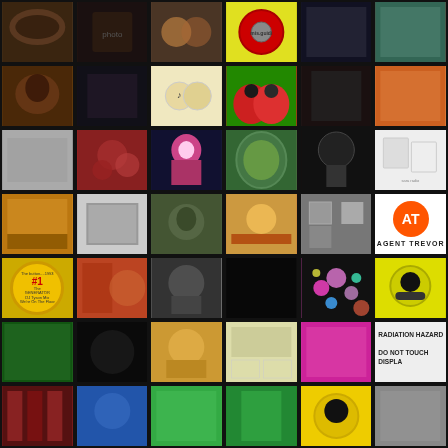[Figure (photo): Grid of 42 thumbnail images arranged in 7 rows and 6 columns, showing a variety of photos, illustrations, logos, and artwork including portraits, landscapes, anime art, album covers, bokeh lights, and graphic designs.]